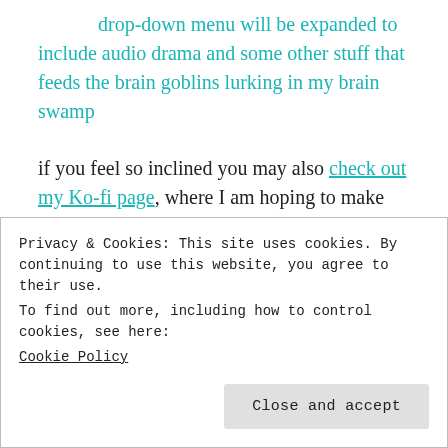drop-down menu will be expanded to include audio drama and some other stuff that feeds the brain goblins lurking in my brain swamp
if you feel so inclined you may also check out my Ko-fi page, where I am hoping to make my words work for me enough to afford a better camera for stalking unsuspecting urban wildlife.
it is a sunny and yet bitterly cold day here in Toronto, but it is also Friday, and that is worth a bit of celebration
Privacy & Cookies: This site uses cookies. By continuing to use this website, you agree to their use.
To find out more, including how to control cookies, see here: Cookie Policy